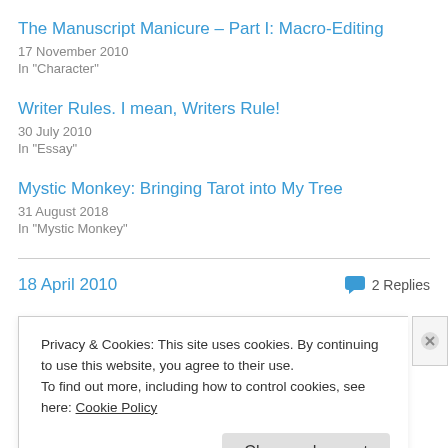The Manuscript Manicure – Part I: Macro-Editing
17 November 2010
In "Character"
Writer Rules. I mean, Writers Rule!
30 July 2010
In "Essay"
Mystic Monkey: Bringing Tarot into My Tree
31 August 2018
In "Mystic Monkey"
18 April 2010
2 Replies
Privacy & Cookies: This site uses cookies. By continuing to use this website, you agree to their use.
To find out more, including how to control cookies, see here: Cookie Policy
Close and accept